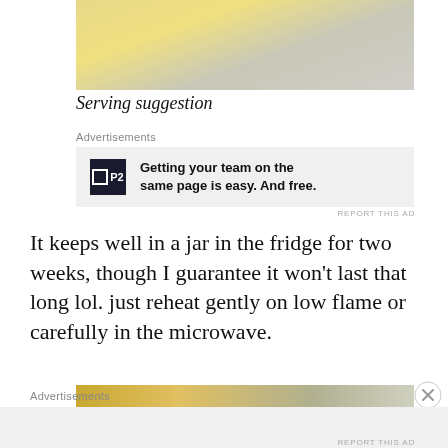[Figure (photo): Top portion of a food photo showing what appears to be a lemon or mango dish on a plate with a light wooden surface background]
Serving suggestion
Advertisements
[Figure (other): Advertisement for P2 product with text: Getting your team on the same page is easy. And free.]
It keeps well in a jar in the fridge for two weeks, though I guarantee it won't last that long lol. just reheat gently on low flame or carefully in the microwave.
[Figure (photo): Bottom portion of another food photo, partially visible]
Advertisements